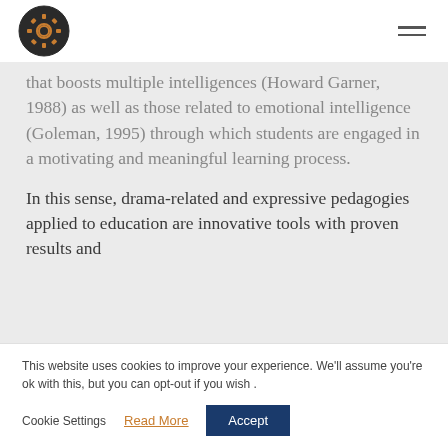[Logo: gear icon] [Hamburger menu]
that boosts multiple intelligences (Howard Garner, 1988) as well as those related to emotional intelligence (Goleman, 1995) through which students are engaged in a motivating and meaningful learning process.
In this sense, drama-related and expressive pedagogies applied to education are innovative tools with proven results and
This website uses cookies to improve your experience. We'll assume you're ok with this, but you can opt-out if you wish .
Cookie Settings | Read More | Accept